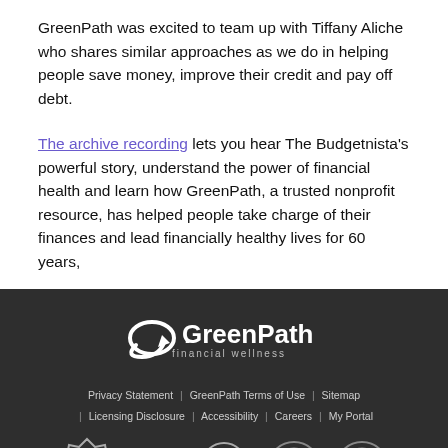GreenPath was excited to team up with Tiffany Aliche who shares similar approaches as we do in helping people save money, improve their credit and pay off debt.
The archive recording lets you hear The Budgetnista's powerful story, understand the power of financial health and learn how GreenPath, a trusted nonprofit resource, has helped people take charge of their finances and lead financially healthy lives for 60 years,
[Figure (logo): GreenPath financial wellness logo in white on dark background]
Privacy Statement | GreenPath Terms of Use | Sitemap | Licensing Disclosure | Accessibility | Careers | My Portal
[Figure (other): Row of accreditation badges: Consumer Affairs Accredited, BBB, NFCC, and two circular seal badges]